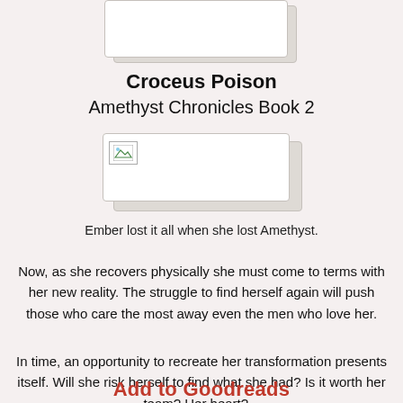[Figure (illustration): Book cover placeholder image at top, partially cropped, showing a white rectangle with gray shadow border]
Croceus Poison
Amethyst Chronicles Book 2
[Figure (illustration): Second book cover image placeholder with broken image icon in top-left corner, white background with gray shadow border]
Ember lost it all when she lost Amethyst.
Now, as she recovers physically she must come to terms with her new reality. The struggle to find herself again will push those who care the most away even the men who love her.
In time, an opportunity to recreate her transformation presents itself. Will she risk herself to find what she had? Is it worth her team? Her heart?...
Add to Goodreads